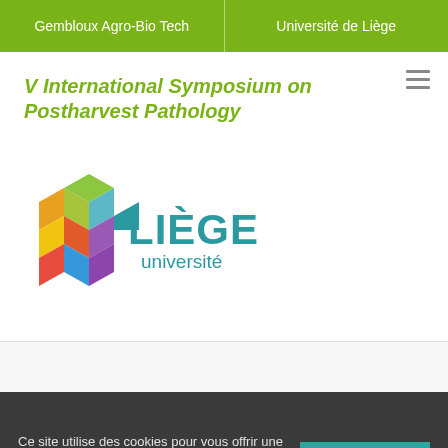Gembloux Agro-Bio Tech | Université de Liège
V International Symposium on Postharvest Pathology
[Figure (logo): Université de Liège logo with colorful geometric cube icon and text 'LIÈGE université' in teal]
Ce site utilise des cookies pour vous offrir une meilleure navigation. En poursuivant votre navigation, vous acceptez l'utilisation de cookies sur ce site. En savoir +